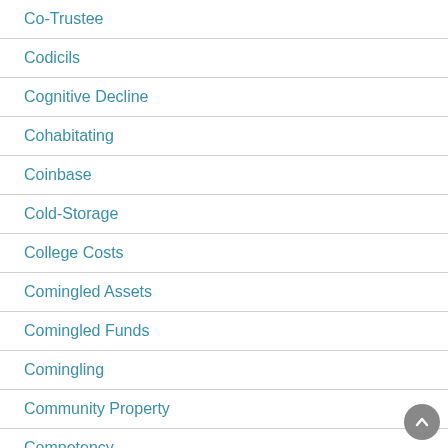Co-Trustee
Codicils
Cognitive Decline
Cohabitating
Coinbase
Cold-Storage
College Costs
Comingled Assets
Comingled Funds
Comingling
Community Property
Competency
Competent